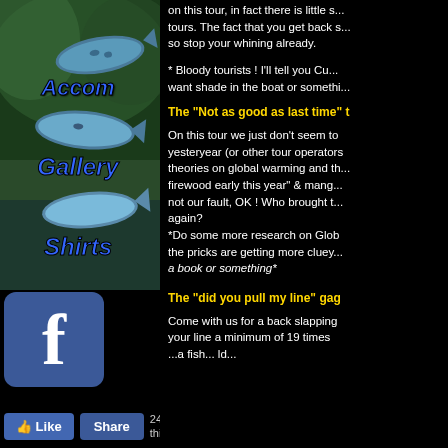[Figure (screenshot): Navigation sidebar with fish/nature background image showing links: Accom, Gallery, Shirts, and Facebook icon]
on this tour, in fact there is little s... tours. The fact that you get back s... so stop your whining already.
* Bloody tourists ! I'll tell you Cu... want shade in the boat or somethi...
The "Not as good as last time" t
On this tour we just don't seem to yesteryear (or other tour operators theories on global warming and th... firewood early this year" & mang... not our fault, OK ! Who brought t... again?
*Do some more research on Glob the pricks are getting more cluey... a book or something*
The "did you pull my line" gag
Come with us for a back slapping your line a minimum of 19 times ...a fish... ld...